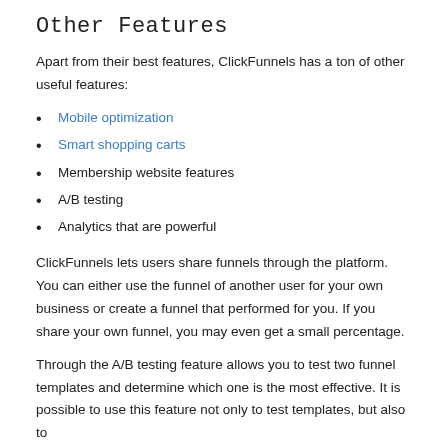Other Features
Apart from their best features, ClickFunnels has a ton of other useful features:
Mobile optimization
Smart shopping carts
Membership website features
A/B testing
Analytics that are powerful
ClickFunnels lets users share funnels through the platform. You can either use the funnel of another user for your own business or create a funnel that performed for you. If you share your own funnel, you may even get a small percentage.
Through the A/B testing feature allows you to test two funnel templates and determine which one is the most effective. It is possible to use this feature not only to test templates, but also to